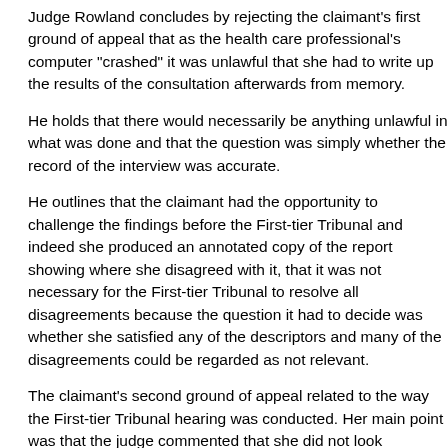Judge Rowland concludes by rejecting the claimant's first ground of appeal that as the health care professional's computer "crashed" it was unlawful that she had to write up the results of the consultation afterwards from memory.
He holds that there would necessarily be anything unlawful in what was done and that the question was simply whether the record of the interview was accurate.
He outlines that the claimant had the opportunity to challenge the findings before the First-tier Tribunal and indeed she produced an annotated copy of the report showing where she disagreed with it, that it was not necessary for the First-tier Tribunal to resolve all disagreements because the question it had to decide was whether she satisfied any of the descriptors and many of the disagreements could be regarded as not relevant.
The claimant's second ground of appeal related to the way the First-tier Tribunal hearing was conducted. Her main point was that the judge commented that she did not look depressed and that her appearance was well kempt, and the claimant says that she found the comment